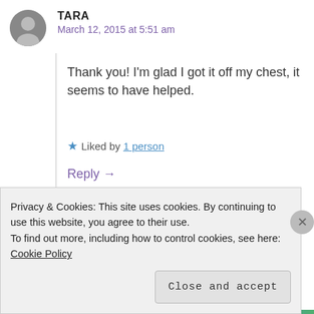TARA
March 12, 2015 at 5:51 am
Thank you! I'm glad I got it off my chest, it seems to have helped.
★ Liked by 1 person
Reply →
Privacy & Cookies: This site uses cookies. By continuing to use this website, you agree to their use.
To find out more, including how to control cookies, see here: Cookie Policy
Close and accept